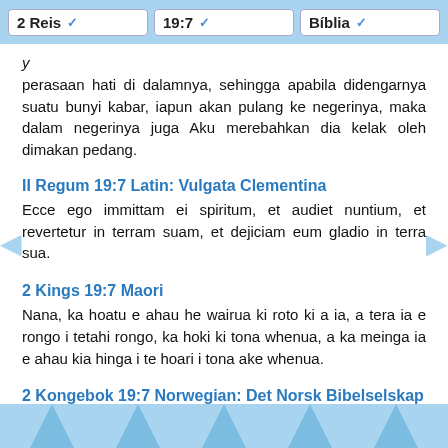2 Reis | 19:7 | Bíblia
perasaan hati di dalamnya, sehingga apabila didengarnya suatu bunyi kabar, iapun akan pulang ke negerinya, maka dalam negerinya juga Aku merebahkan dia kelak oleh dimakan pedang.
II Regum 19:7 Latin: Vulgata Clementina
Ecce ego immittam ei spiritum, et audiet nuntium, et revertetur in terram suam, et dejiciam eum gladio in terra sua.
2 Kings 19:7 Maori
Nana, ka hoatu e ahau he wairua ki roto ki a ia, a tera ia e rongo i tetahi rongo, ka hoki ki tona whenua, a ka meinga ia e ahau kia hinga i te hoari i tona ake whenua.
2 Kongebok 19:7 Norwegian: Det Norsk Bibelselskap (1930)